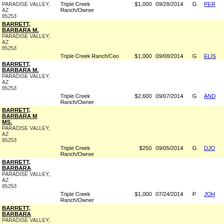| Name/Address | Employer/Occupation | Amount | Date | Type | Committee |
| --- | --- | --- | --- | --- | --- |
| PARADISE VALLEY, AZ 85253 | Triple Creek Ranch/Owner | $1,000 | 09/28/2014 | G | PER |
| BARRETT, BARBARA M.
PARADISE VALLEY, AZ
85253 | Triple Creek Ranch/Ceo | $1,000 | 09/08/2014 | G | ELIS |
| BARRETT, BARBARA M.
PARADISE VALLEY, AZ
85253 | Triple Creek Ranch/Owner | $2,600 | 09/07/2014 | G | AND |
| BARRETT, BARBARA M MS.
PARADISE VALLEY, AZ
85253 | Triple Creek Ranch/Owner | $250 | 09/05/2014 | G | DJO |
| BARRETT, BARBARA
PARADISE VALLEY, AZ
85253 | Triple Creek Ranch/Owner | $1,000 | 07/24/2014 | P | JOH |
| BARRETT, BARBARA
PARADISE VALLEY, AZ
85253 | Triple Creek Ranch/Owner | $2,600 | 07/21/2014 | G | COT |
| BARRETT, BARBARA
PARADISE VALLEY, AZ
85253 | N/A/Retired | $5,000 | 07/17/2014 | P | GOP |
| BARRETT, BARBARA M MRS
PARADISE VALLEY, AZ
85253 | Triple Creek Ranch/Owner | $2,600 | 06/25/2014 | P | NEW Repu |
| BARRETT, BARBARA M.
PARADISE VALLEY, AZ
85253 | Triple Creek Ranch/President/Ceo | $1,600 | 05/29/2014 | P | AND |